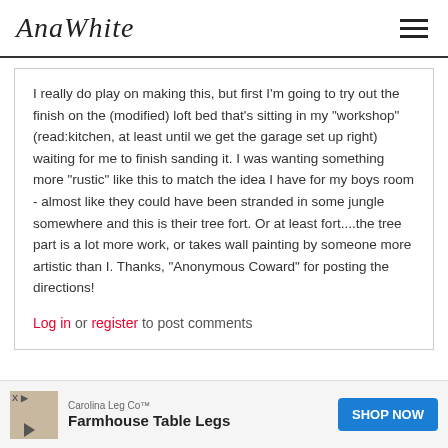AnaWhite
I really do play on making this, but first I'm going to try out the finish on the (modified) loft bed that's sitting in my "workshop" (read:kitchen, at least until we get the garage set up right) waiting for me to finish sanding it. I was wanting something more "rustic" like this to match the idea I have for my boys room - almost like they could have been stranded in some jungle somewhere and this is their tree fort. Or at least fort....the tree part is a lot more work, or takes wall painting by someone more artistic than I. Thanks, "Anonymous Coward" for posting the directions!
Log in or register to post comments
[Figure (infographic): Advertisement banner: Carolina Leg Co - Farmhouse Table Legs with SHOP NOW button]